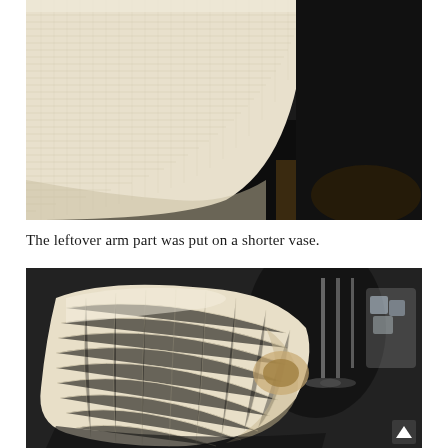[Figure (photo): Close-up photo of a cream/off-white knitted or woven fabric draped over something, against a dark background. The fabric appears to be a chair arm cover or similar textile item, showing detailed texture of the knit.]
The leftover arm part was put on a shorter vase.
[Figure (photo): Photo of a cream/off-white knitted fabric tube or arm cover placed on a shorter vase. Glass stemware and another glass with ice are visible in the background on what appears to be a dark table surface.]